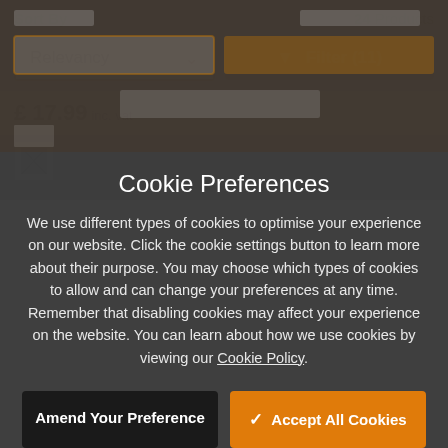Sort By   24 Products
Relevancy
Filter (11)
£ 17.99 inc. vat
Cookie Preferences
We use different types of cookies to optimise your experience on our website. Click the cookie settings button to learn more about their purpose. You may choose which types of cookies to allow and can change your preferences at any time. Remember that disabling cookies may affect your experience on the website. You can learn about how we use cookies by viewing our Cookie Policy.
Amend Your Preference
Accept All Cookies